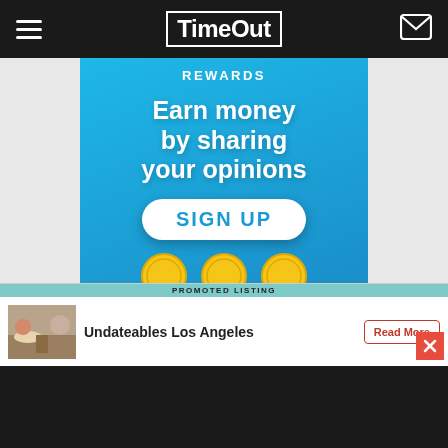TimeOut
[Figure (infographic): Blue advertisement banner for Valued Opinions Rewards program. Text reads 'Rewards', 'Earn money by sharing your opinions' with a 'SIGN UP' button and decorative coins at the bottom.]
PROMOTED LISTING
[Figure (photo): Small thumbnail image showing people dining at a restaurant]
Undateables Los Angeles
Read More